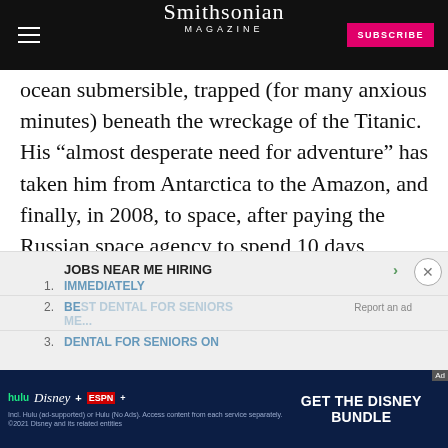Smithsonian Magazine | SUBSCRIBE
ocean submersible, trapped (for many anxious minutes) beneath the wreckage of the Titanic. His “almost desperate need for adventure” has taken him from Antarctica to the Amazon, and finally, in 2008, to space, after paying the Russian space agency to spend 10 days onboard the International Space Station as a private citizen.
1. JOBS NEAR ME HIRING IMMEDIATELY
2. BEST DENTAL FOR SENIORS ME...
3. DENTAL FOR SENIORS ON
[Figure (screenshot): Disney Bundle advertisement banner: hulu Disney+ ESPN+ GET THE DISNEY BUNDLE. Incl. Hulu (ad-supported) or Hulu (No Ads). Access content from each service separately. ©2021 Disney and its related entities]